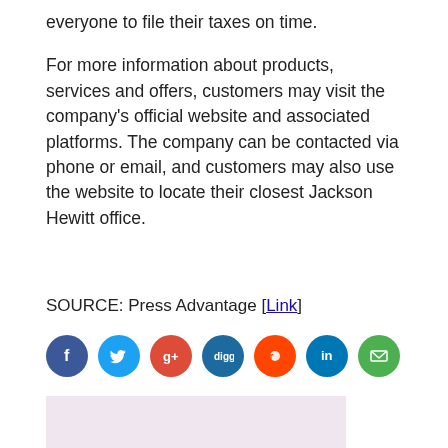everyone to file their taxes on time.
For more information about products, services and offers, customers may visit the company’s official website and associated platforms. The company can be contacted via phone or email, and customers may also use the website to locate their closest Jackson Hewitt office.
SOURCE: Press Advantage [Link]
[Figure (infographic): Row of social media sharing icons: Facebook, Twitter, Google+, Digg, Reddit, LinkedIn, Email, and two more icons (save/bookmark in red, RSS in orange) on the right.]
[Figure (other): Light purple/lavender advertisement block placeholder.]